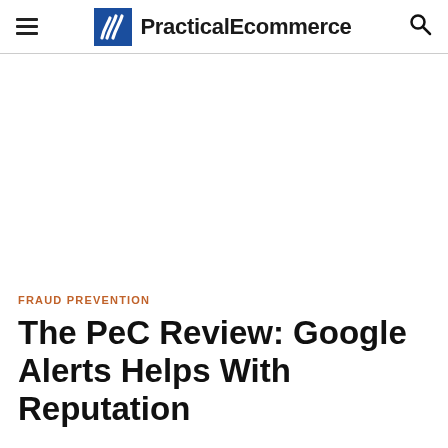PracticalEcommerce
FRAUD PREVENTION
The PeC Review: Google Alerts Helps With Reputation